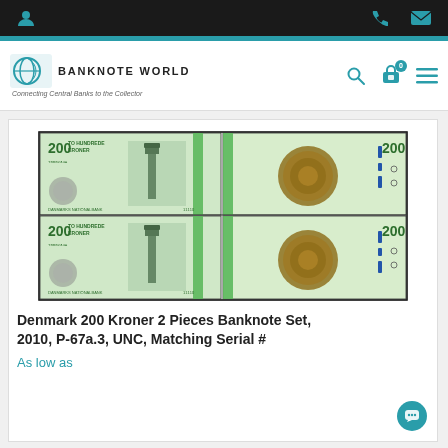BANKNOTE WORLD — Connecting Central Banks to the Collector
[Figure (photo): Two Denmark 200 Kroner banknotes shown front and back, displayed twice (matching pair). Each note shows '200 TO HUNDREDE KRONER' on the front with a green tower/lighthouse image, and a circular ornate design on the reverse.]
Denmark 200 Kroner 2 Pieces Banknote Set, 2010, P-67a.3, UNC, Matching Serial #
As low as